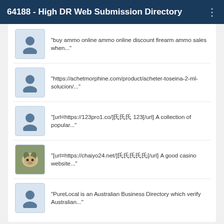64188 - High DR Web Submission Directory
"buy ammo online ammo online discount firearm ammo sales when..."
"https://achetmorphine.com/product/acheter-toseina-2-ml-solucion/..."
"[url=https://123pro1.co/]槙棈橂 123[/url] A collection of popular..."
"[url=https://chaiyo24.net/]棈棈棈棈棈[/url] A good casino website..."
"PureLocal is an Australian Business Directory which verify Australian..."
Copyright © 2022 64188 - High DR Web Submission Directory | Advanced Search | Live | Tag Cloud | Top Users | Made with Powered by Hostperl | Published RSS Feed | All RSS Feeds